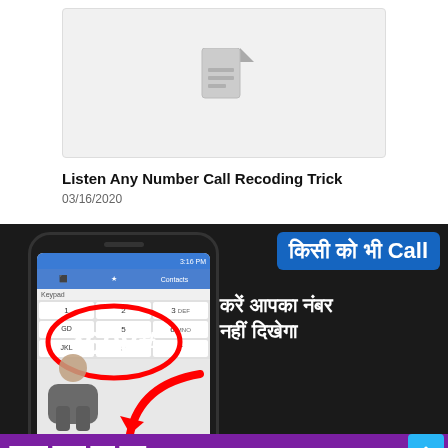[Figure (illustration): Gray placeholder card with a document/file icon in the center]
Listen Any Number Call Recoding Trick
03/16/2020
[Figure (photo): Thumbnail image showing a smartphone with keypad displaying *608# in a red oval circle, Hindi text on the right reading 'किसी को भी Call करें आपका नंबर नहीं दिखेगा' and a purple bar at the bottom with 'गलत काम मत कर...']